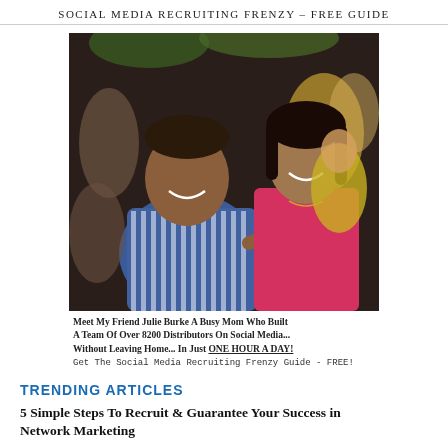SOCIAL MEDIA RECRUITING FRENZY – FREE GUIDE
[Figure (photo): Two people smiling together at a social event — a man in a blue striped shirt pointing at the woman, and a woman in a pink top, with other people in the background.]
Meet My Friend Julie Burke A Busy Mom Who Built A Team Of Over 8200 Distributors On Social Media... Without Leaving Home... In Just ONE HOUR A DAY!
Get The Social Media Recruiting Frenzy Guide - FREE!
TRENDING ARTICLES
5 Simple Steps To Recruit & Guarantee Your Success in Network Marketing